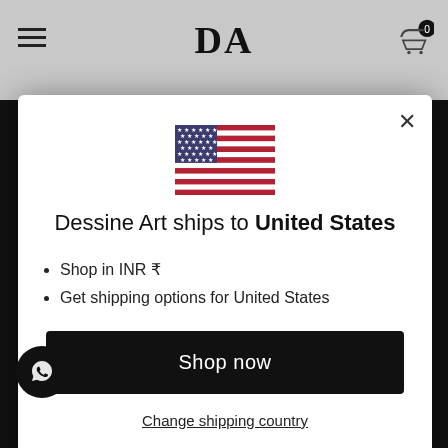DA
[Figure (screenshot): US flag emoji / illustration centered in modal]
Dessine Art ships to United States
Shop in INR ₹
Get shipping options for United States
Shop now
Change shipping country
Explore and collect original artworks and